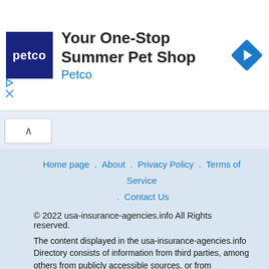[Figure (other): Petco advertisement banner: Petco logo (dark blue square with 'petco' text), headline 'Your One-Stop Summer Pet Shop', subtitle 'Petco', and a blue diamond navigation arrow icon on the right.]
Home page . About . Privacy Policy . Terms of Service . Contact Us
© 2022 usa-insurance-agencies.info All Rights Reserved.
The content displayed in the usa-insurance-agencies.info Directory consists of information from third parties, among others from publicly accessible sources, or from customers, who have a presentation page in our directory. usa-insurance-agencies.info cannot be held responsible or liable for the accuracy, correctness, usefulness or reliability of the data. The brand names, logos, images and texts are the property of these third parties and their respective owners. If you have any questions or suggestions regarding this matter, you are welcome to contact our customer support team.
usa-insurance-agencies.info is not responsible for content on external web sites. Taxes, fees not included for deals content...